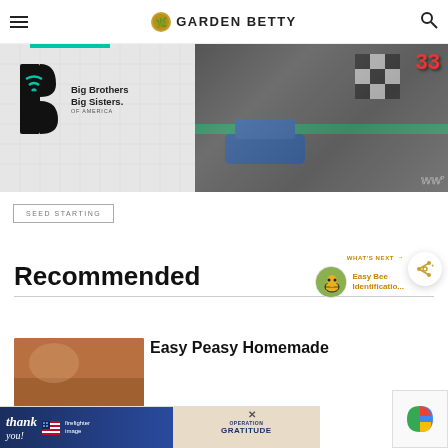GARDEN BETTY
[Figure (illustration): Big Brothers Big Sisters of America advertisement banner with logo on left, racing/RC car image on right]
SEED STARTING
Recommended
[Figure (photo): What's Next callout with bee identification thumbnail and text 'Easy Bee Identificatio...']
WHAT'S NEXT → Easy Bee Identificatio...
[Figure (photo): Article thumbnail for Easy Peasy Homemade article]
Easy Peasy Homemade
[Figure (illustration): Operation Gratitude advertisement banner at bottom with thank you message and flag design]